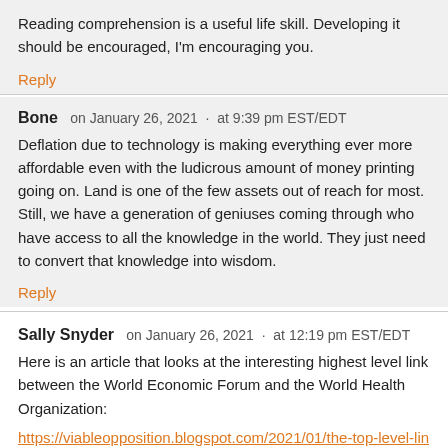Reading comprehension is a useful life skill. Developing it should be encouraged, I'm encouraging you.
Reply
Bone   on January 26, 2021  ·  at 9:39 pm EST/EDT
Deflation due to technology is making everything ever more affordable even with the ludicrous amount of money printing going on. Land is one of the few assets out of reach for most. Still, we have a generation of geniuses coming through who have access to all the knowledge in the world. They just need to convert that knowledge into wisdom.
Reply
Sally Snyder   on January 26, 2021  ·  at 12:19 pm EST/EDT
Here is an article that looks at the interesting highest level link between the World Economic Forum and the World Health Organization:
https://viableopposition.blogspot.com/2021/01/the-top-level-link-between...